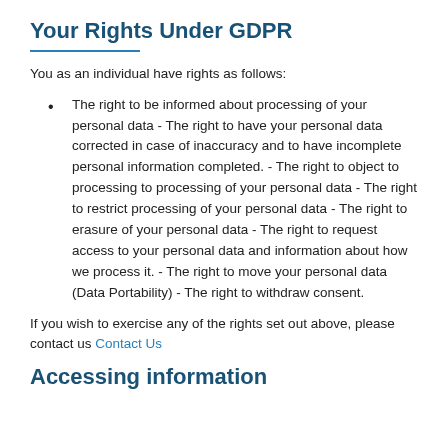Your Rights Under GDPR
You as an individual have rights as follows:
The right to be informed about processing of your personal data - The right to have your personal data corrected in case of inaccuracy and to have incomplete personal information completed. - The right to object to processing to processing of your personal data - The right to restrict processing of your personal data - The right to erasure of your personal data - The right to request access to your personal data and information about how we process it. - The right to move your personal data (Data Portability) - The right to withdraw consent.
If you wish to exercise any of the rights set out above, please contact us Contact Us
Accessing information